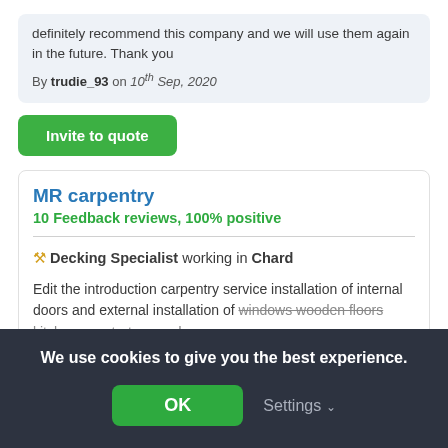definitely recommend this company and we will use them again in the future. Thank you
By trudie_93 on 10th Sep, 2020
Invite to quote
MR carpentry
10 Feedback reviews, 100% positive
🔨 Decking Specialist working in Chard
Edit the introduction carpentry service installation of internal doors and external installation of windows wooden floors kitchen countertops and
We use cookies to give you the best experience.
OK
Settings ∨